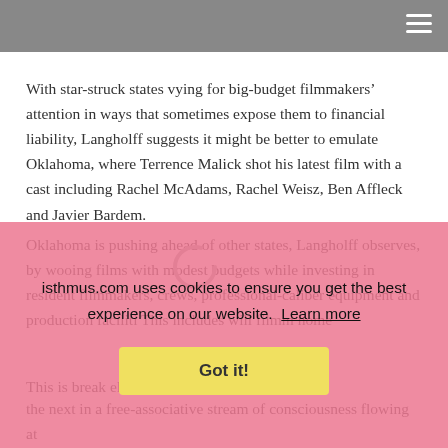and infrastructure.
With star-struck states vying for big-budget filmmakers’ attention in ways that sometimes expose them to financial liability, Langholff suggests it might be better to emulate Oklahoma, where Terrence Malick shot his latest film with a cast including Rachel McAdams, Rachel Weisz, Ben Affleck and Javier Bardem.
Oklahoma is pushing ahead of other states, Langholff observes, by wooing films with modest budgets while investing in resident filmmakers, crews, professional-caliber equipment and production facilities. This includes will... filmm... home...
This is... break... ellipse... though...
the next in a free-associative stream of consciousness flowing at